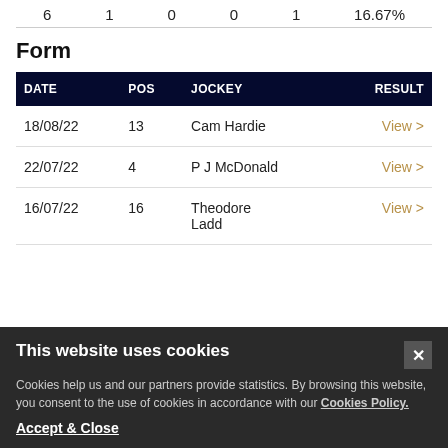6   1   0   0   1   16.67%
Form
| DATE | POS | JOCKEY | RESULT |
| --- | --- | --- | --- |
| 18/08/22 | 13 | Cam Hardie | View > |
| 22/07/22 | 4 | P J McDonald | View > |
| 16/07/22 | 16 | Theodore Ladd | View > |
This website uses cookies
Cookies help us and our partners provide statistics. By browsing this website, you consent to the use of cookies in accordance with our Cookies Policy.
Accept & Close